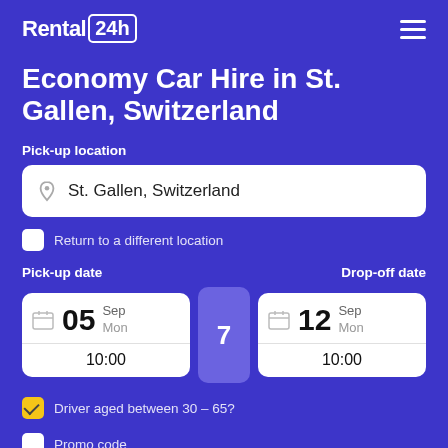Rental 24h
Economy Car Hire in St. Gallen, Switzerland
Pick-up location
St. Gallen, Switzerland
Return to a different location
Pick-up date
Drop-off date
05 Sep Mon 10:00
7
12 Sep Mon 10:00
Driver aged between 30 – 65?
Promo code